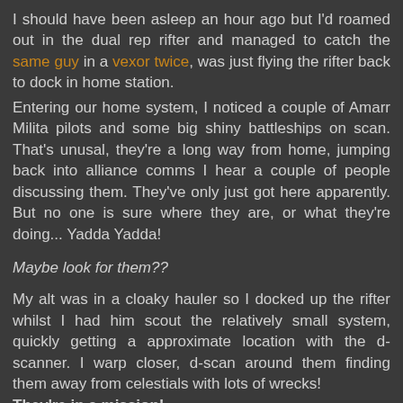I should have been asleep an hour ago but I'd roamed out in the dual rep rifter and managed to catch the same guy in a vexor twice, was just flying the rifter back to dock in home station.
Entering our home system, I noticed a couple of Amarr Milita pilots and some big shiny battleships on scan. That's unusal, they're a long way from home, jumping back into alliance comms I hear a couple of people discussing them. They've only just got here apparently. But no one is sure where they are, or what they're doing... Yadda Yadda!
Maybe look for them??
My alt was in a cloaky hauler so I docked up the rifter whilst I had him scout the relatively small system, quickly getting a approximate location with the d-scanner. I warp closer, d-scan around them finding them away from celestials with lots of wrecks!
They're in a mission!
We start to form up, its going a little slow it's late EU timezone and the yanks aren't quite on yet.
Someone starts to probe them. As I'd given them clear